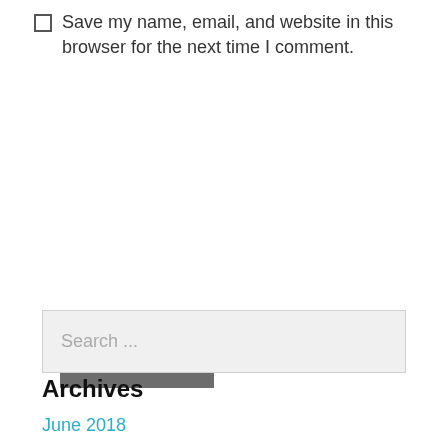Save my name, email, and website in this browser for the next time I comment.
Post Comment
Search ...
Archives
June 2018